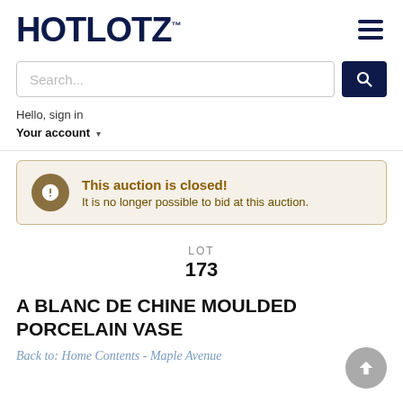HOTLOTZ™
Hello, sign in
Your account ▾
This auction is closed! It is no longer possible to bid at this auction.
LOT
173
A BLANC DE CHINE MOULDED PORCELAIN VASE
Back to: Home Contents - Maple Avenue